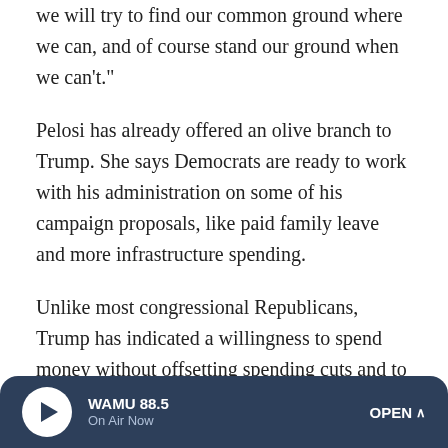we will try to find our common ground where we can, and of course stand our ground when we can't."
Pelosi has already offered an olive branch to Trump. She says Democrats are ready to work with his administration on some of his campaign proposals, like paid family leave and more infrastructure spending.
Unlike most congressional Republicans, Trump has indicated a willingness to spend money without offsetting spending cuts and to expand or protect certain government programs like Medicare and Social Security.
But Democrats are lining up to oppose Trump's plans to repeal Obamacare and cut taxes for the wealthy. With narrow
WAMU 88.5 On Air Now OPEN